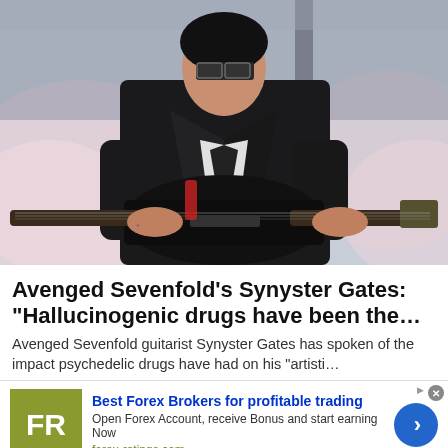[Figure (photo): A male rock guitarist with sunglasses, wearing a black leather jacket and playing a black electric guitar on stage with pink/white smoke in the background]
Avenged Sevenfold's Synyster Gates: “Hallucinogenic drugs have been the…
Avenged Sevenfold guitarist Synyster Gates has spoken of the impact psychedelic drugs have had on his “artisti…
Best Forex Brokers for profitable trading
Open Forex Account, receive Bonus and start earning Now
forex-ratings.com